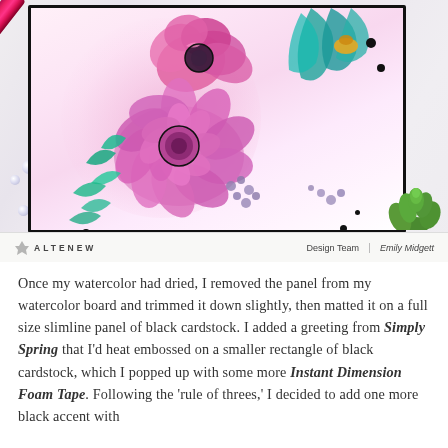[Figure (photo): Photo of a floral watercolor card with pink and magenta flowers (dahlia, poppy, peony style blooms) with teal/green leaves, outlined in black, on a pink watercolor wash background. Card is mounted on black border. A pink/red pen is visible at top left. A small succulent plant is at bottom right. White marble surface underneath. Altenew branding bar at bottom with 'Design Team' and 'Emily Midgett' credits.]
Once my watercolor had dried, I removed the panel from my watercolor board and trimmed it down slightly, then matted it on a full size slimline panel of black cardstock. I added a greeting from Simply Spring that I'd heat embossed on a smaller rectangle of black cardstock, which I popped up with some more Instant Dimension Foam Tape. Following the 'rule of threes,' I decided to add one more black accent with